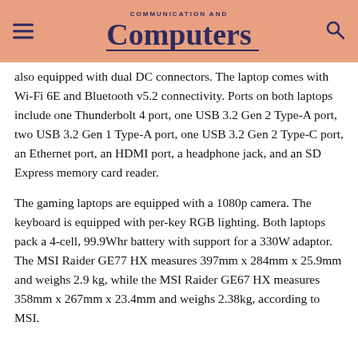COMMUNICATION AND Computers
also equipped with dual DC connectors. The laptop comes with Wi-Fi 6E and Bluetooth v5.2 connectivity. Ports on both laptops include one Thunderbolt 4 port, one USB 3.2 Gen 2 Type-A port, two USB 3.2 Gen 1 Type-A port, one USB 3.2 Gen 2 Type-C port, an Ethernet port, an HDMI port, a headphone jack, and an SD Express memory card reader.
The gaming laptops are equipped with a 1080p camera. The keyboard is equipped with per-key RGB lighting. Both laptops pack a 4-cell, 99.9Whr battery with support for a 330W adaptor. The MSI Raider GE77 HX measures 397mm x 284mm x 25.9mm and weighs 2.9 kg, while the MSI Raider GE67 HX measures 358mm x 267mm x 23.4mm and weighs 2.38kg, according to MSI.